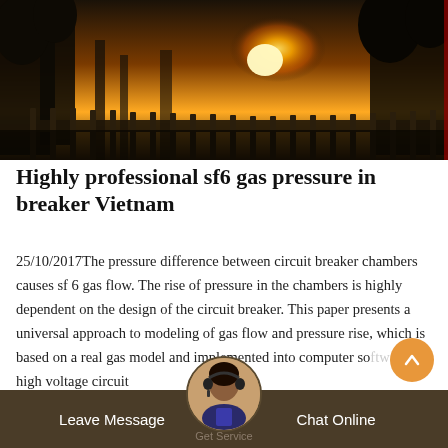[Figure (photo): Outdoor urban scene at sunset/sunrise with trees, buildings, and fence silhouettes against a golden sky]
Highly professional sf6 gas pressure in breaker Vietnam
25/10/2017The pressure difference between circuit breaker chambers causes sf 6 gas flow. The rise of pressure in the chambers is highly dependent on the design of the circuit breaker. This paper presents a universal approach to modeling of gas flow and pressure rise, which is based on a real gas model and implemented into computer software for high voltage circuit
Leave Message   Get Service   Chat Online